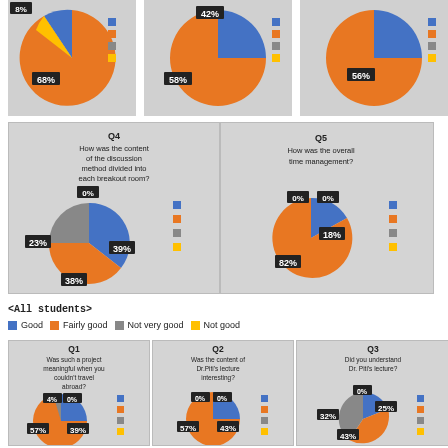[Figure (pie-chart): Q1 (top, partial)]
[Figure (pie-chart): Q2 (top, partial)]
[Figure (pie-chart): Q3 (top, partial)]
[Figure (pie-chart): Q4 How was the content of the discussion method divided into each breakout room?]
[Figure (pie-chart): Q5 How was the overall time management?]
<All students>
Good  Fairly good  Not very good  Not good
[Figure (pie-chart): Q1 Was such a project meaningful when you couldn't travel abroad?]
[Figure (pie-chart): Q2 Was the content of Dr.Piti's lecture interesting?]
[Figure (pie-chart): Q3 Did you understand Dr. Piti's lecture?]